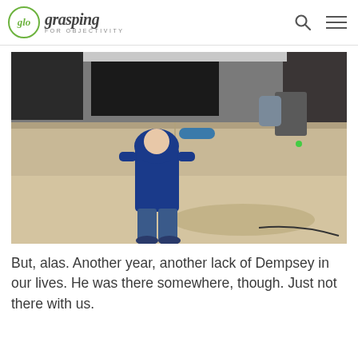glo grasping FOR OBJECTIVITY
[Figure (photo): A young child wearing a blue hoodie jacket and jeans stands outdoors in front of a concrete barrier. Another person with a backpack is visible in the background near large vehicles/equipment. The child is posing with hands near their hood, casting a shadow on the ground.]
But, alas. Another year, another lack of Dempsey in our lives. He was there somewhere, though. Just not there with us.